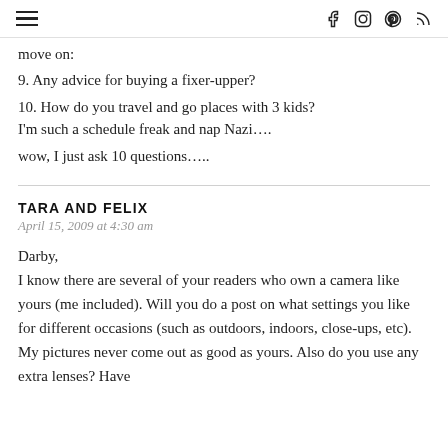≡ f ⓘ ⓟ ⓡ
move on:
9. Any advice for buying a fixer-upper?
10. How do you travel and go places with 3 kids? I'm such a schedule freak and nap Nazi….
wow, I just ask 10 questions…..
TARA AND FELIX
April 15, 2009 at 4:30 am
Darby,
I know there are several of your readers who own a camera like yours (me included). Will you do a post on what settings you like for different occasions (such as outdoors, indoors, close-ups, etc). My pictures never come out as good as yours. Also do you use any extra lenses? Have